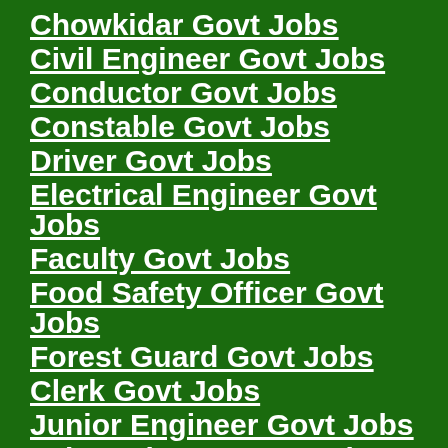Chowkidar Govt Jobs
Civil Engineer Govt Jobs
Conductor Govt Jobs
Constable Govt Jobs
Driver Govt Jobs
Electrical Engineer Govt Jobs
Faculty Govt Jobs
Food Safety Officer Govt Jobs
Forest Guard Govt Jobs
Clerk Govt Jobs
Junior Engineer Govt Jobs
Lab Assistant Govt Jobs
Lab Technician Govt Jobs